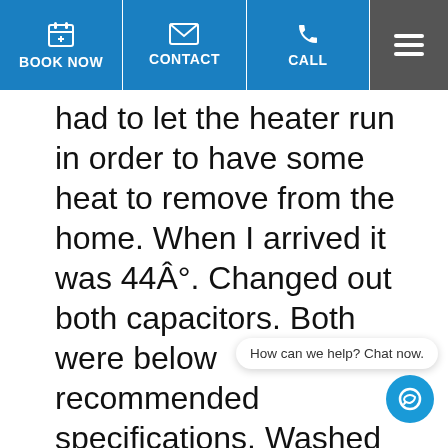BOOK NOW | CONTACT | Call | [Menu]
had to let the heater run in order to have some heat to remove from the home. When I arrived it was 44Â°. Changed out both capacitors. Both were below recommended specifications. Washed both condenser coilâ€˜s.
How can we help? Chat now.